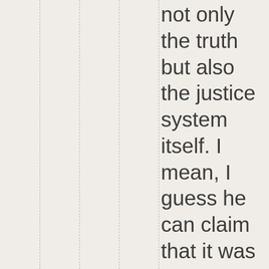not only the truth but also the justice system itself. I mean, I guess he can claim that it was his lawyers that were incompetent to begin with. Obama should